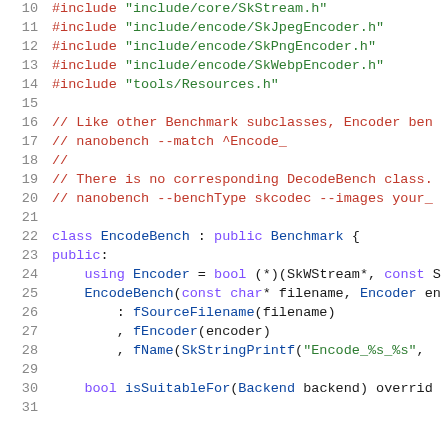[Figure (screenshot): Source code listing in C++ showing lines 10-31 of a file. Lines 10-14 show #include directives for SkStream.h, SkJpegEncoder.h, SkPngEncoder.h, SkWebpEncoder.h, and Resources.h. Lines 16-20 show comments about Benchmark subclasses, nanobench usage. Lines 22-28 show class EncodeBench definition with public section, Encoder typedef, constructor. Lines 30-31 show isSuitableFor method declaration.]